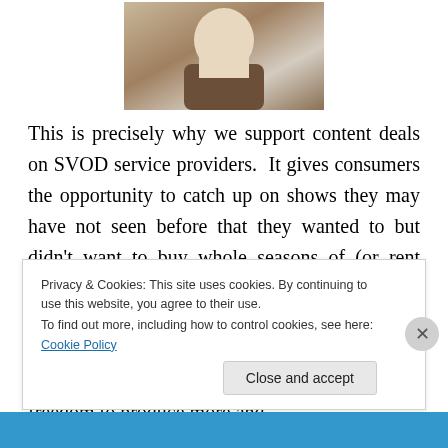[Figure (photo): Partial photo of a person at the top of the page]
This is precisely why we support content deals on SVOD service providers.  It gives consumers the opportunity to catch up on shows they may have not seen before that they wanted to but didn't want to buy whole seasons of (or rent them a disc at a time) and it benefits the studios and networks by creating new viewers of shows that are currently in production. Since it's basically free money, it allows the studios more freedom to produce more and
Privacy & Cookies: This site uses cookies. By continuing to use this website, you agree to their use.
To find out more, including how to control cookies, see here: Cookie Policy
Close and accept